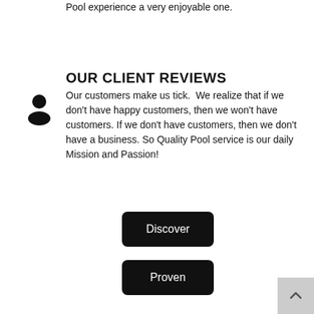Pool experience a very enjoyable one.
OUR CLIENT REVIEWS
[Figure (illustration): Generic user/person silhouette icon in black]
Our customers make us tick.  We realize that if we don't have happy customers, then we won't have customers. If we don't have customers, then we don't have a business. So Quality Pool service is our daily Mission and Passion!
Discover
Proven